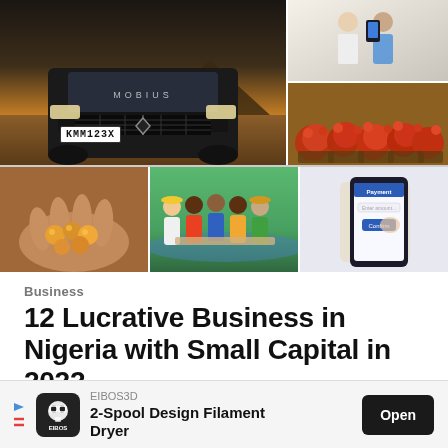[Figure (photo): Collage of 5 photos: large Mobius SUV truck front view on dirt landscape at sunset, two smaller photos on right (people with mobile device, baskets of red palm fruits), bottom row: hands holding nuts/seeds, group of people standing together outdoors, hands touching phone screen showing payment app]
Business
12 Lucrative Business in Nigeria with Small Capital in 2022
[Figure (other): Ad banner: EIBOS3D logo, text '2-Spool Design Filament Dryer', Open button]